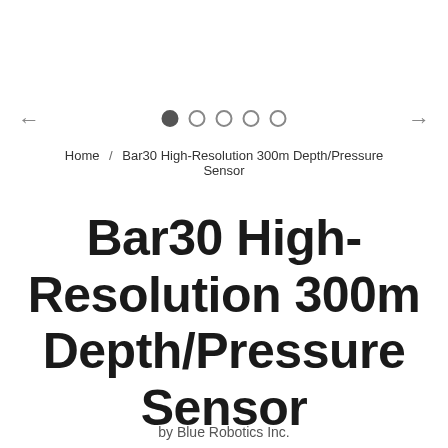[Figure (other): Product image carousel with navigation arrows and dot indicators. First dot is filled/active, four others are outlined. Left and right arrow navigation buttons visible.]
Home / Bar30 High-Resolution 300m Depth/Pressure Sensor
Bar30 High-Resolution 300m Depth/Pressure Sensor
by Blue Robotics Inc.